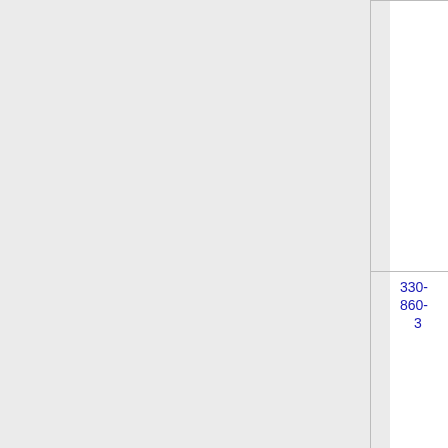| Number | State | Company Name | ID |
| --- | --- | --- | --- |
| 330-860-3 | OH | T-MOBILE USA, INC. (T-Mobile US, Inc) | 65 |
| 330-860-4 | OH | NEW CINGULAR WIRELESS PCS, LLC (AT&T Wireless) | 65 |